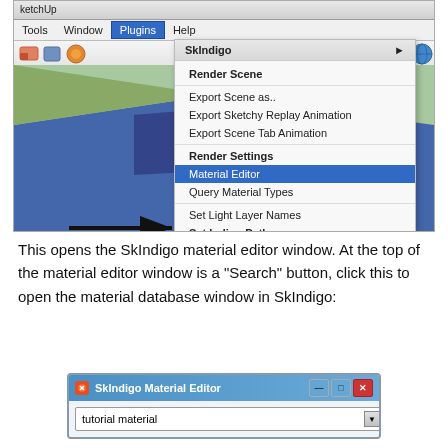[Figure (screenshot): SketchUp application window showing Plugins > SkIndigo menu open with Material Editor highlighted, and a black arrow pointing to Material Editor option. Menu items include: Render Scene, Export Scene as.., Export Sketchy Replay Animation, Export Scene Tab Animation, Render Settings, Material Editor, Query Material Types, Set Light Layer Names, Set Indigo Path, About SkIndigo 3.2.8]
This opens the SkIndigo material editor window. At the top of the material editor window is a "Search" button, click this to open the material database window in SkIndigo:
[Figure (screenshot): SkIndigo Material Editor window with 'tutorial material' shown in a dropdown combo box]